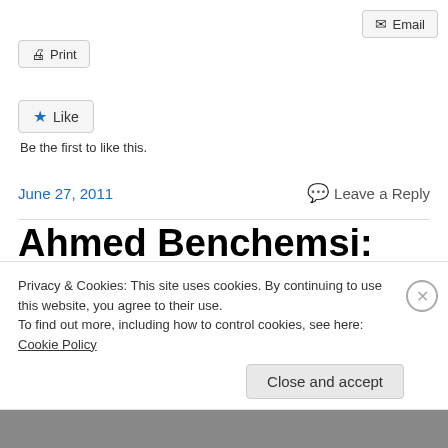[Figure (screenshot): Email button with envelope icon, top right]
[Figure (screenshot): Print button with printer icon, top left]
[Figure (screenshot): Like button with star icon]
Be the first to like this.
June 27, 2011   Leave a Reply
Ahmed Benchemsi: The Anatomy of the Moroccan
Privacy & Cookies: This site uses cookies. By continuing to use this website, you agree to their use.
To find out more, including how to control cookies, see here: Cookie Policy
[Figure (screenshot): Close and accept button]